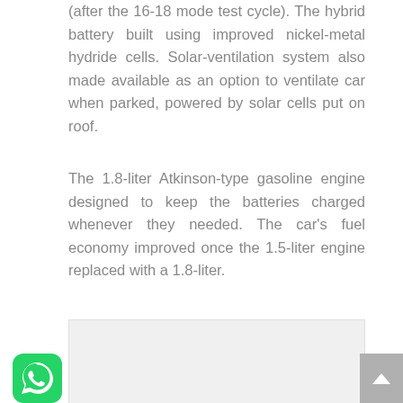(after the 16-18 mode test cycle). The hybrid battery built using improved nickel-metal hydride cells. Solar-ventilation system also made available as an option to ventilate car when parked, powered by solar cells put on roof.
The 1.8-liter Atkinson-type gasoline engine designed to keep the batteries charged whenever they needed. The car's fuel economy improved once the 1.5-liter engine replaced with a 1.8-liter.
[Figure (photo): Light gray placeholder image area]